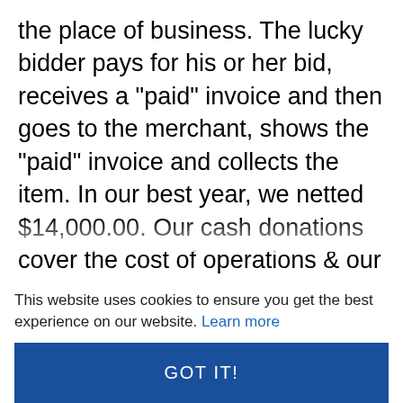the place of business. The lucky bidder pays for his or her bid, receives a "paid" invoice and then goes to the merchant, shows the "paid" invoice and collects the item. In our best year, we netted $14,000.00. Our cash donations cover the cost of operations & our auction runs around 65% of the total value of donated items. CJGX broadcasts from the boardroom of the Swan Valley Credit Union & the receptionist at SVCU issues the "paid" invoices. We had 5 phone operators, 3 bid posters & 2 winning bid callers and we ran the auction from
This website uses cookies to ensure you get the best experience on our website. Learn more
GOT IT!